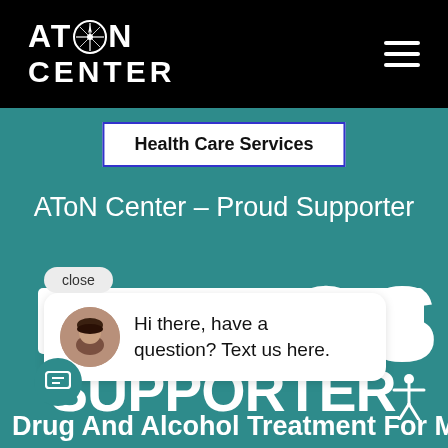AToN Center
Health Care Services
AToN Center – Proud Supporter
close
Hi there, have a question? Text us here.
SUPPORTER
Drug And Alcohol Treatment For Men And